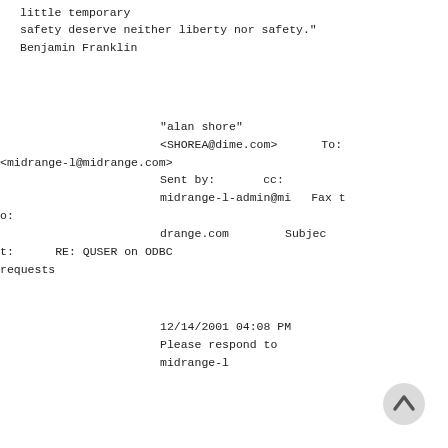little temporary
safety deserve neither liberty nor safety."
Benjamin Franklin
"alan shore"
<SHOREA@dime.com>         To:
<midrange-l@midrange.com>
                          Sent by:          cc:
                          midrange-l-admin@mi    Fax t
o:
                          drange.com        Subjec
t:      RE: QUSER on ODBC
requests
12/14/2001 04:08 PM
Please respond to
midrange-l
[Figure (other): Back/up navigation button icon (chevron up in a circle)]